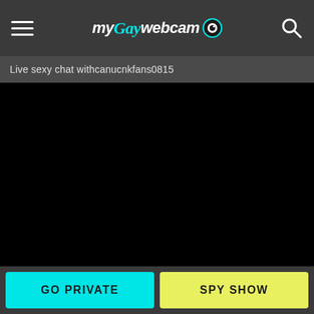my Gay webcam [logo with eye icon]
Live sexy chat withcanucnkfans0815
[Figure (screenshot): Black video stream area, no content visible]
GO PRIVATE
SPY SHOW